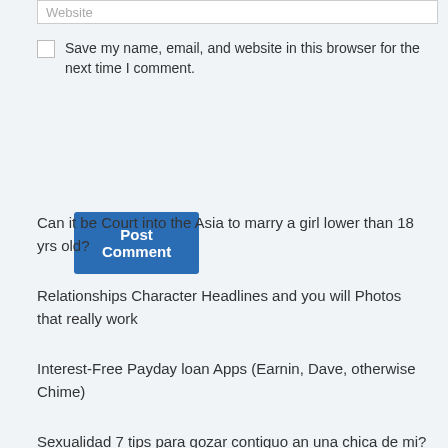Website
Save my name, email, and website in this browser for the next time I comment.
Post Comment
Can it be Court into the Asia to marry a girl lower than 18 yrs old?
Relationships Character Headlines and you will Photos that really work
Interest-Free Payday loan Apps (Earnin, Dave, otherwise Chime)
Sexualidad 7 tips para gozar contiguo an una chica de mi?s grande